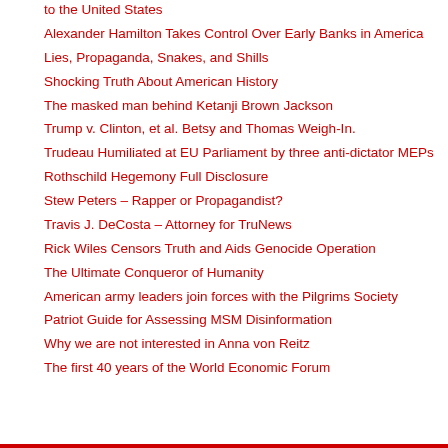to the United States
Alexander Hamilton Takes Control Over Early Banks in America
Lies, Propaganda, Snakes, and Shills
Shocking Truth About American History
The masked man behind Ketanji Brown Jackson
Trump v. Clinton, et al. Betsy and Thomas Weigh-In.
Trudeau Humiliated at EU Parliament by three anti-dictator MEPs
Rothschild Hegemony Full Disclosure
Stew Peters – Rapper or Propagandist?
Travis J. DeCosta – Attorney for TruNews
Rick Wiles Censors Truth and Aids Genocide Operation
The Ultimate Conqueror of Humanity
American army leaders join forces with the Pilgrims Society
Patriot Guide for Assessing MSM Disinformation
Why we are not interested in Anna von Reitz
The first 40 years of the World Economic Forum